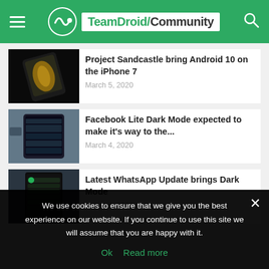TeamDroid Community
Project Sandcastle bring Android 10 on the iPhone 7 — March 5, 2020
Facebook Lite Dark Mode expected to make it's way to the... — March 4, 2020
Latest WhatsApp Update brings Dark Mode — March 4, 2020
We use cookies to ensure that we give you the best experience on our website. If you continue to use this site we will assume that you are happy with it.
Ok   Read more